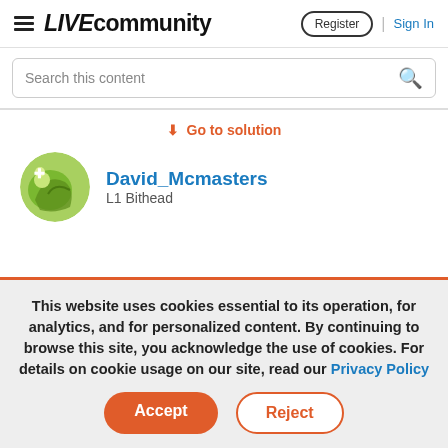≡ LIVEcommunity   Register | Sign In
Search this content
↓ Go to solution
David_Mcmasters
L1 Bithead
This website uses cookies essential to its operation, for analytics, and for personalized content. By continuing to browse this site, you acknowledge the use of cookies. For details on cookie usage on our site, read our Privacy Policy
Accept   Reject